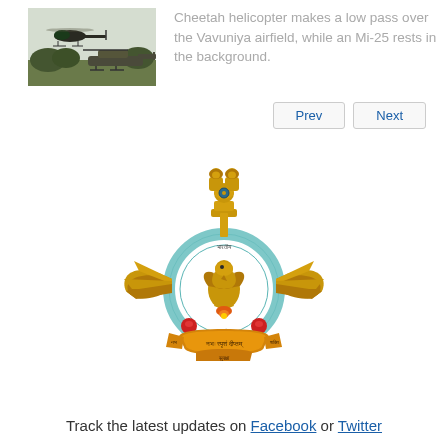[Figure (photo): Cheetah helicopter making a low pass over the Vavuniya airfield, with an Mi-25 resting in the background]
Cheetah helicopter makes a low pass over the Vavuniya airfield, while an Mi-25 rests in the background.
[Figure (logo): Indian Air Force emblem/logo featuring the Ashoka Lion Capital on top, wings, circular blue ring with text in Devanagari script, an eagle, and a banner with text]
Track the latest updates on Facebook or Twitter